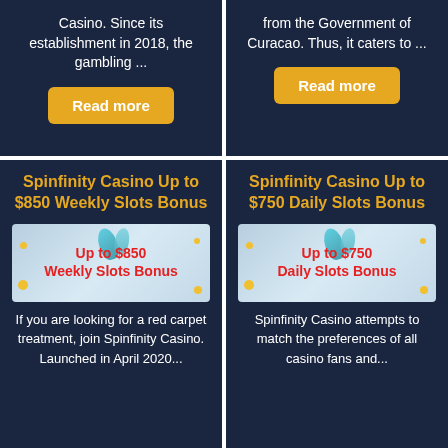Casino. Since its establishment in 2018, the gambling ...
from the Government of Curacao. Thus, it caters to ...
Read more
Read more
Spinfinity Casino Up to $850 Weekly Slots Bonus
Spinfinity Casino Up to $750 Daily Slots Bonus
[Figure (illustration): Casino bonus banner showing 'Up to $850 Weekly Slots Bonus' in red bold text on a light blue background with decorative feathers and confetti elements]
[Figure (illustration): Casino bonus banner showing 'Up to $750 Daily Slots Bonus' in red bold text on a light blue background with decorative feathers and confetti elements]
If you are looking for a red carpet treatment, join Spinfinity Casino. Launched in April 2020...
Spinfinity Casino attempts to match the preferences of all casino fans and...